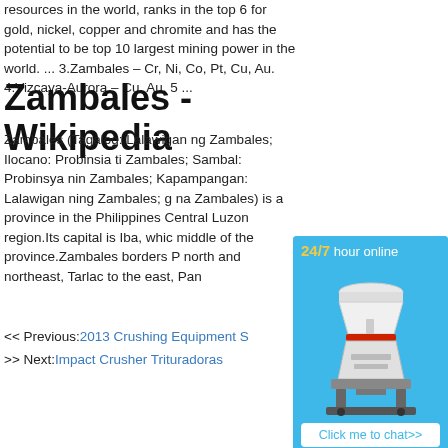resources in the world, ranks in the top 6 for gold, nickel, copper and chromite and has the potential to be top 10 largest mining power in the world. ... 3.Zambales – Cr, Ni, Co, Pt, Cu, Au. 4.Vizcaya-Aurora – Cu, Au. 5 ...
Zambales - Wikipedia
Zambales (Tagalog: Lalawigan ng Zambales; Ilocano: Probinsia ti Zambales; Sambal: Probinsya nin Zambales; Kapampangan: Lalawigan ning Zambales; ...g na Zambales) is a province in the Philippines Central Luzon region.Its capital is Iba, whic middle of the province.Zambales borders P north and northeast, Tarlac to the east, Pan
[Figure (infographic): Advertisement sidebar showing '24/7 hour online' text, a cone crusher machine image, 'Click me to chat>>' button, 'Enquiry' section, and 'limingjlmofen' text on a blue background.]
<< Previous: 2013 Crushing Equipment S
>> Next: Impact Crusher Trituradoras